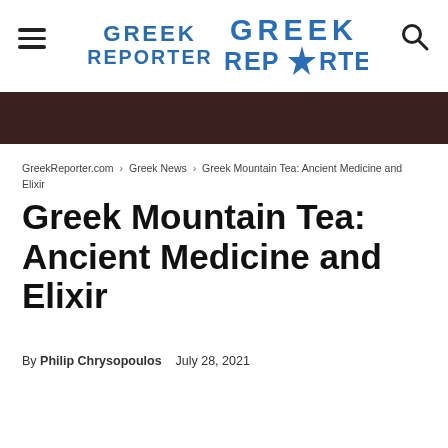Greek Reporter
GreekReporter.com › Greek News › Greek Mountain Tea: Ancient Medicine and Elixir
Greek Mountain Tea: Ancient Medicine and Elixir
By Philip Chrysopoulos   July 28, 2021